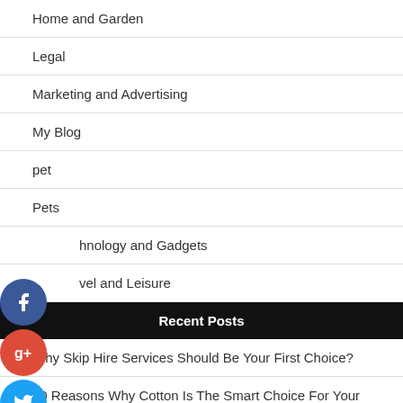Home and Garden
Legal
Marketing and Advertising
My Blog
pet
Pets
Technology and Gadgets
Travel and Leisure
Recent Posts
Why Skip Hire Services Should Be Your First Choice?
10 Reasons Why Cotton Is The Smart Choice For Your Babys Blanket